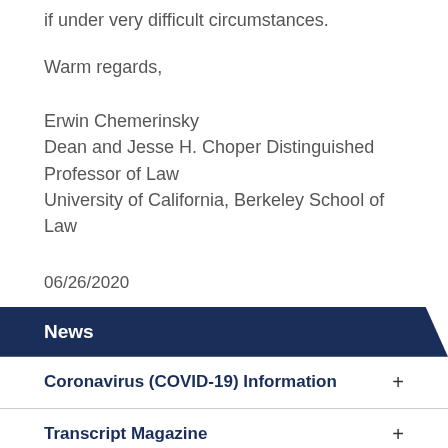if under very difficult circumstances.
Warm regards,
Erwin Chemerinsky
Dean and Jesse H. Choper Distinguished Professor of Law
University of California, Berkeley School of Law
06/26/2020
News
Coronavirus (COVID-19) Information
Transcript Magazine